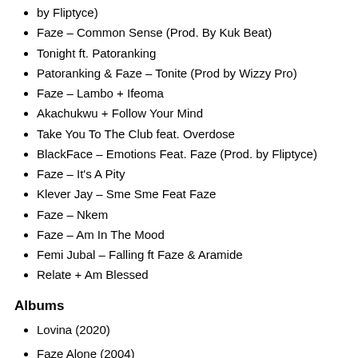by Fliptyce)
Faze – Common Sense (Prod. By Kuk Beat)
Tonight ft. Patoranking
Patoranking & Faze – Tonite (Prod by Wizzy Pro)
Faze – Lambo + Ifeoma
Akachukwu + Follow Your Mind
Take You To The Club feat. Overdose
BlackFace – Emotions Feat. Faze (Prod. by Fliptyce)
Faze – It's A Pity
Klever Jay – Sme Sme Feat Faze
Faze – Nkem
Faze – Am In The Mood
Femi Jubal – Falling ft Faze & Aramide
Relate + Am Blessed
Albums
Lovina (2020)
Faze Alone (2004)